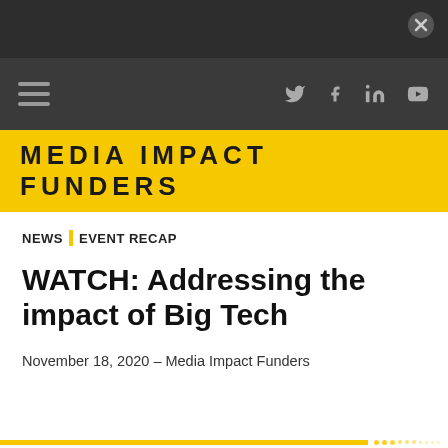[Figure (screenshot): Dark top navigation bar with close (X) button]
[Figure (screenshot): Dark nav bar with hamburger menu icon on left and social media icons (Twitter, Facebook, LinkedIn, YouTube) on right]
MEDIA IMPACT FUNDERS
NEWS | EVENT RECAP
WATCH: Addressing the impact of Big Tech
November 18, 2020 – Media Impact Funders